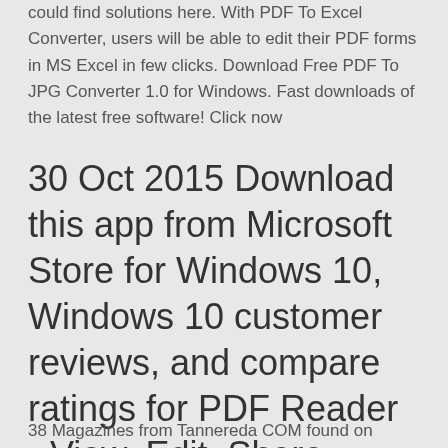could find solutions here. With PDF To Excel Converter, users will be able to edit their PDF forms in MS Excel in few clicks. Download Free PDF To JPG Converter 1.0 for Windows. Fast downloads of the latest free software! Click now
30 Oct 2015 Download this app from Microsoft Store for Windows 10, Windows 10 customer reviews, and compare ratings for PDF Reader - View, Edit, Share. SHARE • Sign up and verify your account to get 500 MB of free space.
38 Magazines from Tannereda COM found on Yumpu.com - Read